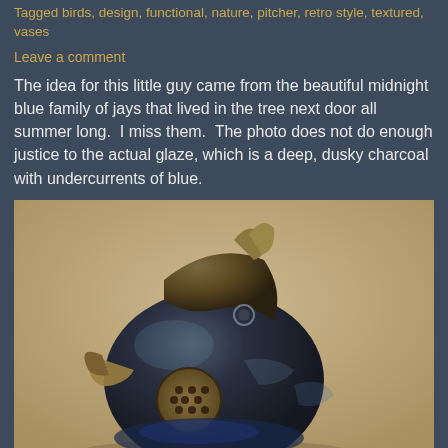Tagged birds, design, functional, nature, pitcher, retro style, textured, vases
Leave a comment
The idea for this little guy came from the beautiful midnight blue family of jays that lived in the tree next door all summer long.  I miss them.  The photo does not do enough justice to the actual glaze, which is a deep, dusky charcoal with undercurrents of blue.
[Figure (photo): Close-up photograph of a ceramic bird-shaped pottery piece with a dark charcoal/midnight blue glaze with brownish-gold accents, showing detailed textures including a honeycomb-patterned circle on the body, pointed beak/spout, and wing details. Shot against a beige/tan background.]